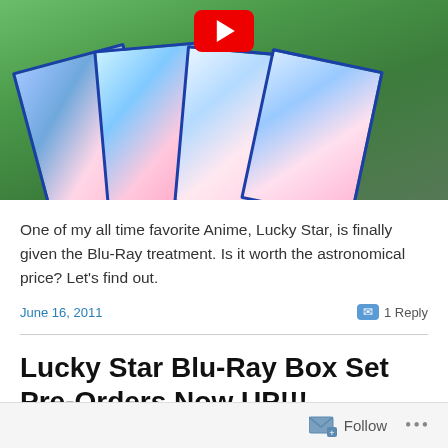[Figure (photo): Thumbnail image of anime DVD/Blu-Ray box set covers fanned out on a green surface, with a YouTube play button overlay at top center]
One of my all time favorite Anime, Lucky Star, is finally given the Blu-Ray treatment. Is it worth the astronomical price? Let's find out.
June 16, 2011
1 Reply
Lucky Star Blu-Ray Box Set Pre-Orders Now UP!!!